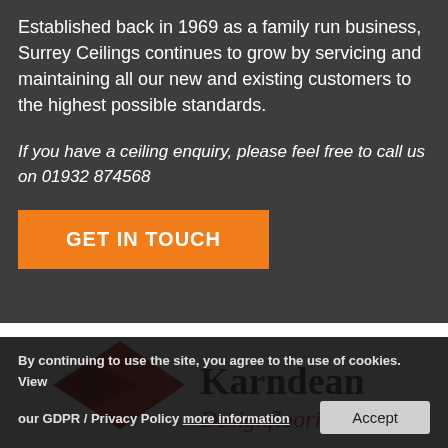Established back in 1969 as a family run business, Surrey Ceilings continues to grow by servicing and maintaining all our new and existing customers to the highest possible standards.
If you have a ceiling enquiry, please feel free to call us on 01932 874568
GET IN TOUCH
[Figure (logo): Karndean Designflooring logo with red diamond shape on white background]
By continuing to use the site, you agree to the use of cookies. View our GDPR / Privacy Policy more information
Accept